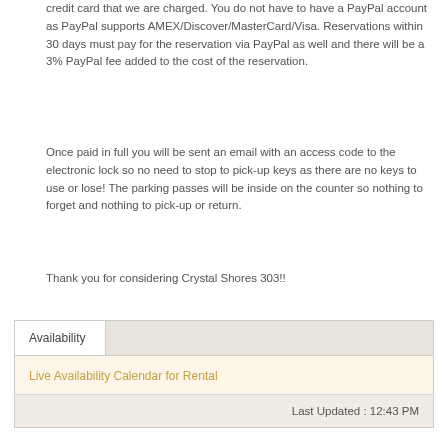credit card that we are charged. You do not have to have a PayPal account as PayPal supports AMEX/Discover/MasterCard/Visa. Reservations within 30 days must pay for the reservation via PayPal as well and there will be a 3% PayPal fee added to the cost of the reservation.
Once paid in full you will be sent an email with an access code to the electronic lock so no need to stop to pick-up keys as there are no keys to use or lose! The parking passes will be inside on the counter so nothing to forget and nothing to pick-up or return.
Thank you for considering Crystal Shores 303!!
Availability
Live Availability Calendar for Rental
Last Updated : 12:43 PM